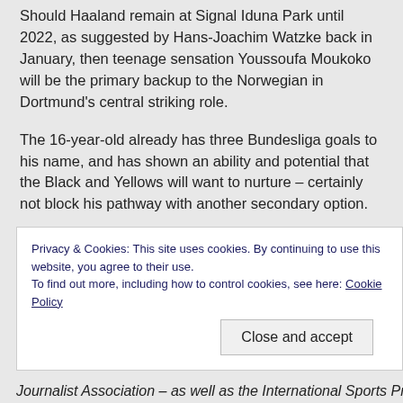Should Haaland remain at Signal Iduna Park until 2022, as suggested by Hans-Joachim Watzke back in January, then teenage sensation Youssoufa Moukoko will be the primary backup to the Norwegian in Dortmund's central striking role.
The 16-year-old already has three Bundesliga goals to his name, and has shown an ability and potential that the Black and Yellows will want to nurture – certainly not block his pathway with another secondary option.
Meanwhile, 22-year-old Steffen Tigges has also seen his playing time increase since being promoted to Dortmund's senior squad, playing all 90 minutes in the DFB-Pokal tie against Eintracht Braunschweig, as well as a number of cameo Bundesliga
Privacy & Cookies: This site uses cookies. By continuing to use this website, you agree to their use.
To find out more, including how to control cookies, see here: Cookie Policy
Journalist Association – as well as the International Sports Press